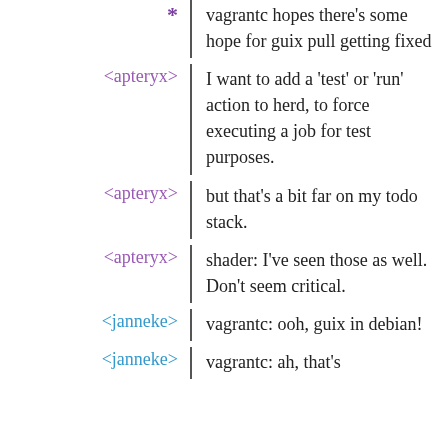* vagrantc hopes there's some hope for guix pull getting fixed
<apteryx> I want to add a 'test' or 'run' action to herd, to force executing a job for test purposes.
<apteryx> but that's a bit far on my todo stack.
<apteryx> shader: I've seen those as well. Don't seem critical.
<janneke> vagrantc: ooh, guix in debian!
<janneke> vagrantc: ah, that's